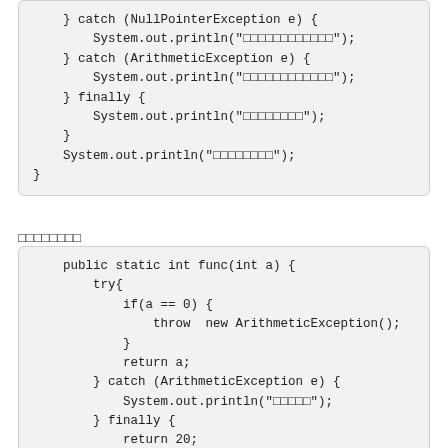} catch (NullPointerException e) {
    System.out.println("□□□□□□□□□□□□");
} catch (ArithmeticException e) {
    System.out.println("□□□□□□□□□□□□");
} finally {
    System.out.println("□□□□□□□□");
}
System.out.println("□□□□□□□□");
}
□□□□□□□□
public static int func(int a) {
    try{
        if(a == 0) {
            throw  new ArithmeticException();
        }
        return a;
    } catch (ArithmeticException e) {
        System.out.println("□□□□□");
    } finally {
        return 20;
    }
}